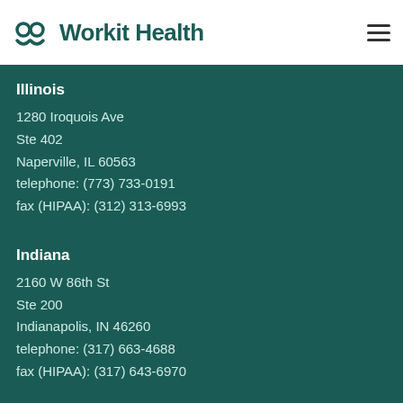Workit Health
Illinois
1280 Iroquois Ave
Ste 402
Naperville, IL 60563
telephone: (773) 733-0191
fax (HIPAA): (312) 313-6993
Indiana
2160 W 86th St
Ste 200
Indianapolis, IN 46260
telephone: (317) 663-4688
fax (HIPAA): (317) 643-6970
Michigan